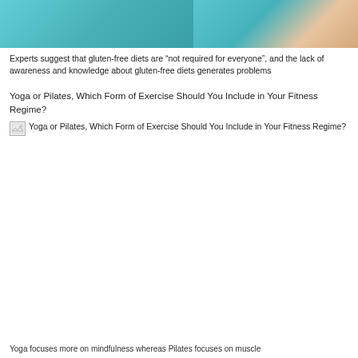[Figure (photo): Cropped top portion of two images side by side — left appears to show food/gluten-free related imagery in teal tones, right shows a person with teal fabric]
Experts suggest that gluten-free diets are “not required for everyone”, and the lack of awareness and knowledge about gluten-free diets generates problems
Yoga or Pilates, Which Form of Exercise Should You Include in Your Fitness Regime?
[Figure (photo): Broken/failed image for article: Yoga or Pilates, Which Form of Exercise Should You Include in Your Fitness Regime? — image failed to load]
Yoga focuses more on mindfulness whereas Pilates focuses on muscle